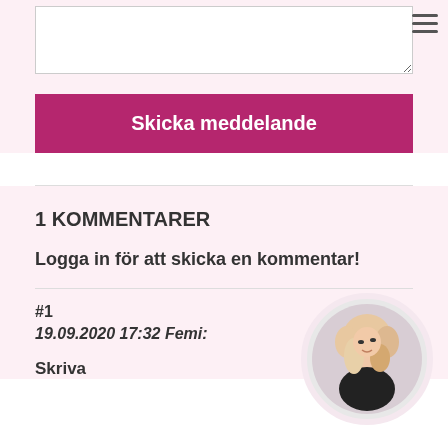[Figure (other): Text input textarea box (empty)]
Skicka meddelande
1 KOMMENTARER
Logga in för att skicka en kommentar!
#1
19.09.2020 17:32 Femi:
Skriva
[Figure (photo): Circular avatar photo of a person with blonde/pink wavy hair wearing black outfit, posed looking upward]